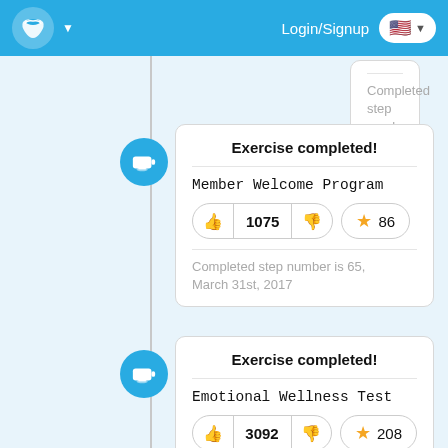Login/Signup
Completed step number is 66, December 14th, 2019
Exercise completed!
Member Welcome Program
1075 votes, 86 stars
Completed step number is 65, March 31st, 2017
Exercise completed!
Emotional Wellness Test
3092 votes, 208 stars